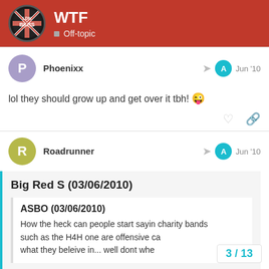WTF — Off-topic (LDN BKRS forum)
Phoenixx — Jun '10
lol they should grow up and get over it tbh! 😜
Roadrunner — Jun '10
Big Red S (03/06/2010)
ASBO (03/06/2010)
How the heck can people start sayin charity bands such as the H4H one are offensive ca... what they beleive in... well dont whe
3 / 13